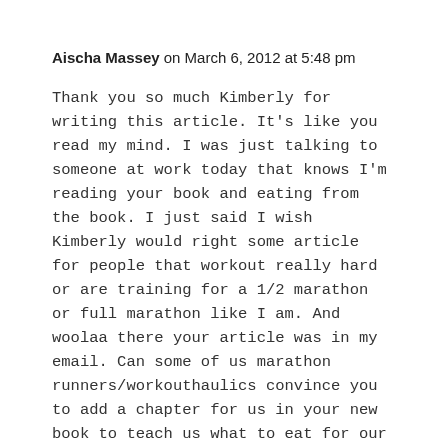Aischa Massey on March 6, 2012 at 5:48 pm
Thank you so much Kimberly for writing this article. It's like you read my mind. I was just talking to someone at work today that knows I'm reading your book and eating from the book. I just said I wish Kimberly would right some article for people that workout really hard or are training for a 1/2 marathon or full marathon like I am. And woolaa there your article was in my email. Can some of us marathon runners/workouthaulics convince you to add a chapter for us in your new book to teach us what to eat for our sports?? Pretty pretty please with an avocado on top. Thank you for all you do and all your